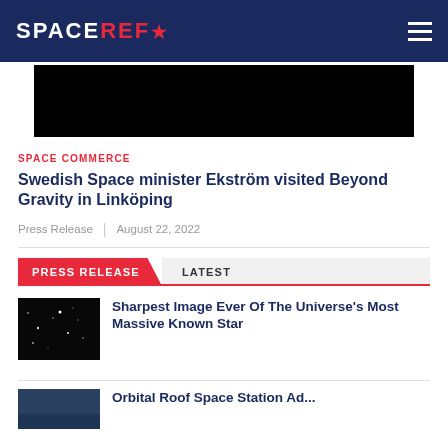SPACEREF*
[Figure (photo): Dark/black hero image area]
SPACE COMMERCE
Swedish Space minister Ekström visited Beyond Gravity in Linköping
Press Release | August 22, 2022
PRESS RELEASE  LATEST
Sharpest Image Ever Of The Universe's Most Massive Known Star
Orbital Roof Space Station Advances...